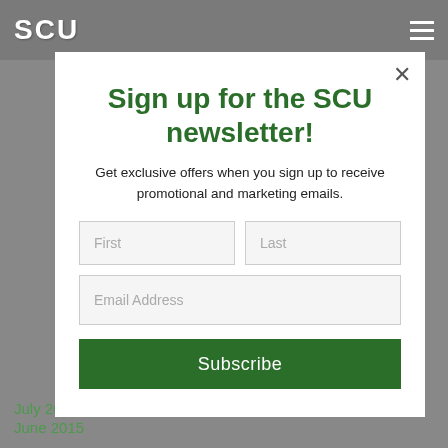SCU
Sign up for the SCU newsletter!
Get exclusive offers when you sign up to receive promotional and marketing emails.
First | Last | Email Address | Subscribe
July 2015
June 2015